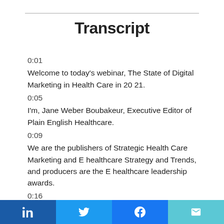Transcript
0:01
Welcome to today's webinar, The State of Digital Marketing in Health Care in 20 21.
0:05
I'm, Jane Weber Boubakeur, Executive Editor of Plain English Healthcare.
0:09
We are the publishers of Strategic Health Care Marketing and E healthcare Strategy and Trends, and producers are the E healthcare leadership awards.
0:16